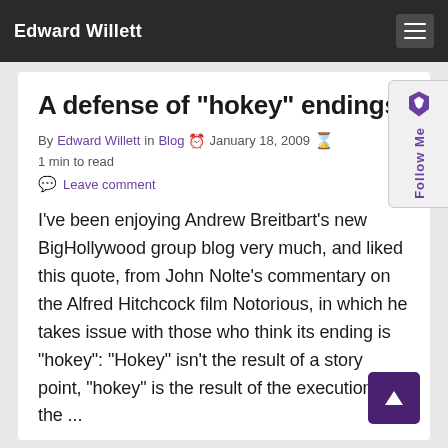Edward Willett
A defense of "hokey" endings
By Edward Willett in Blog  January 18, 2009  1 min to read
Leave comment
I've been enjoying Andrew Breitbart's new BigHollywood group blog very much, and liked this quote, from John Nolte's commentary on the Alfred Hitchcock film Notorious, in which he takes issue with those who think its ending is "hokey": "Hokey" isn't the result of a story point, "hokey" is the result of the execution of the ...
Continue reading